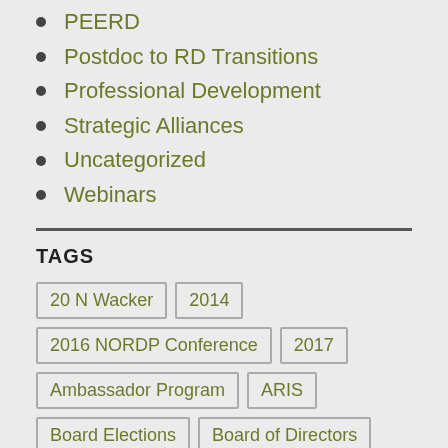PEERD
Postdoc to RD Transitions
Professional Development
Strategic Alliances
Uncategorized
Webinars
TAGS
20 N Wacker | 2014 | 2016 NORDP Conference | 2017 | Ambassador Program | ARIS | Board Elections | Board of Directors | BookClub